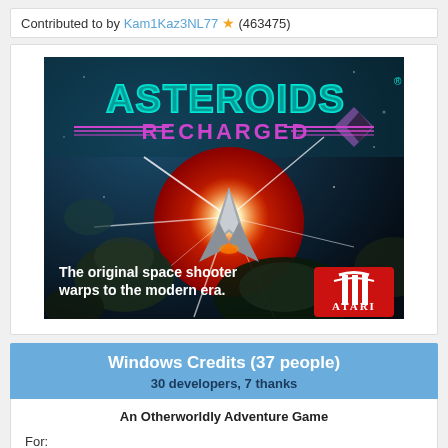Contributed to by Kam1Kaz3NL77 ★ (463475)
[Figure (photo): Asteroids Recharged game cover art showing a spaceship firing in space with a red sun, asteroids, and the Atari logo. Text reads 'The original space shooter warps to the modern era.']
Windows Credits (37 people)
30 developers, 7 thanks
An Otherworldly Adventure Game
For: